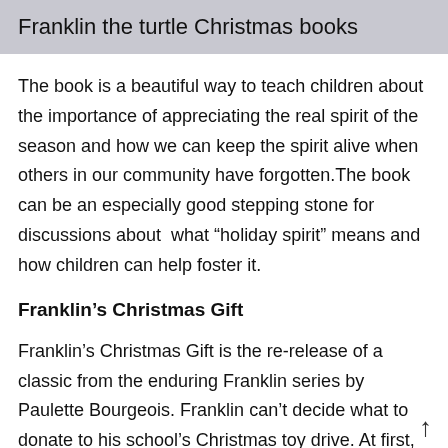Franklin the turtle Christmas books
The book is a beautiful way to teach children about the importance of appreciating the real spirit of the season and how we can keep the spirit alive when others in our community have forgotten.The book can be an especially good stepping stone for discussions about  what “holiday spirit” means and how children can help foster it.
Franklin’s Christmas Gift
Franklin’s Christmas Gift is the re-release of a classic from the enduring Franklin series by Paulette Bourgeois. Franklin can’t decide what to donate to his school’s Christmas toy drive. At first, all of his toys seem too special to give away, then nothing seems special enough.